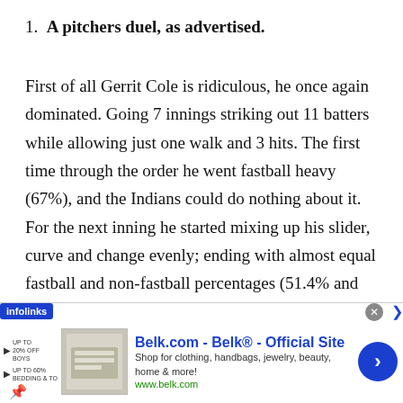1. A pitchers duel, as advertised.
First of all Gerrit Cole is ridiculous, he once again dominated. Going 7 innings striking out 11 batters while allowing just one walk and 3 hits. The first time through the order he went fastball heavy (67%), and the Indians could do nothing about it. For the next inning he started mixing up his slider, curve and change evenly; ending with almost equal fastball and non-fastball percentages (51.4% and 48.6% respectively).
id all of that WHILE he was battling for
[Figure (other): Advertisement banner: infolinks overlay ad for Belk.com with thumbnail image, brand text 'Belk.com - Belk® - Official Site', tagline 'Shop for clothing, handbags, jewelry, beauty, home & more!', URL 'www.belk.com', close button, and blue CTA arrow button.]